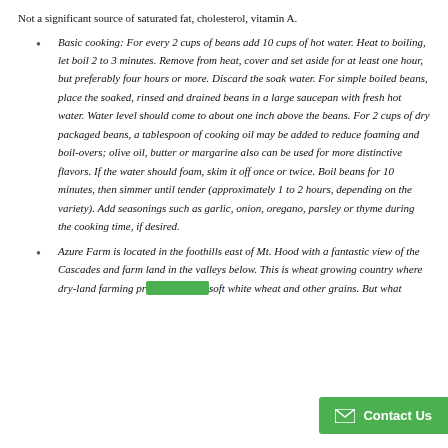Not a significant source of saturated fat, cholesterol, vitamin A.
Basic cooking: For every 2 cups of beans add 10 cups of hot water. Heat to boiling, let boil 2 to 3 minutes. Remove from heat, cover and set aside for at least one hour, but preferably four hours or more. Discard the soak water. For simple boiled beans, place the soaked, rinsed and drained beans in a large saucepan with fresh hot water. Water level should come to about one inch above the beans. For 2 cups of dry packaged beans, a tablespoon of cooking oil may be added to reduce foaming and boil-overs; olive oil, butter or margarine also can be used for more distinctive flavors. If the water should foam, skim it off once or twice. Boil beans for 10 minutes, then simmer until tender (approximately 1 to 2 hours, depending on the variety). Add seasonings such as garlic, onion, oregano, parsley or thyme during the cooking time, if desired.
Azure Farm is located in the foothills east of Mt. Hood with a fantastic view of the Cascades and farm land in the valleys below. This is wheat growing country where dry-land farming pr… soft white wheat and other grains. But what…